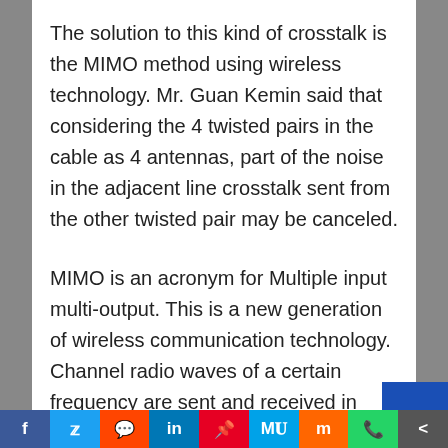The solution to this kind of crosstalk is the MIMO method using wireless technology. Mr. Guan Kemin said that considering the 4 twisted pairs in the cable as 4 antennas, part of the noise in the adjacent line crosstalk sent from the other twisted pair may be canceled.
MIMO is an acronym for Multiple input multi-output. This is a new generation of wireless communication technology. Channel radio waves of a certain frequency are sent and received in parallel using multiple antennas. High-speed transmission is achieved through this multiplexing method. The data